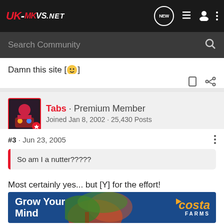UK-MKVS.NET navigation bar with search
Damn this site [🙂]
Tabs · Premium Member
Joined Jan 8, 2002 · 25,430 Posts
#3 · Jun 23, 2005
So am I a nutter?????
Most certainly yes... but [Y] for the effort!
[Figure (photo): Costa Farms advertisement banner: Grow Your Mind]